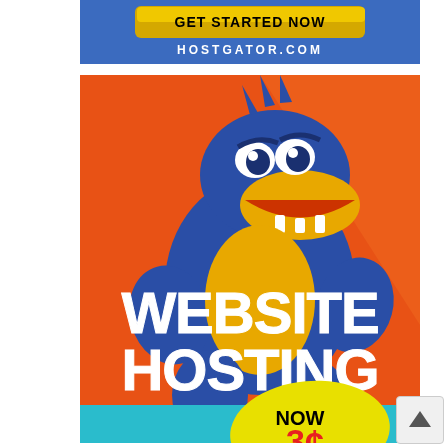[Figure (illustration): HostGator advertisement banner - top portion showing 'GET STARTED NOW' button on blue background with HOSTGATOR.COM text]
[Figure (illustration): HostGator advertisement - large orange background with blue cartoon alligator mascot standing with arms crossed, large white text reading 'WEBSITE HOSTING' and yellow badge with 'NOW' text and price starting with '2']